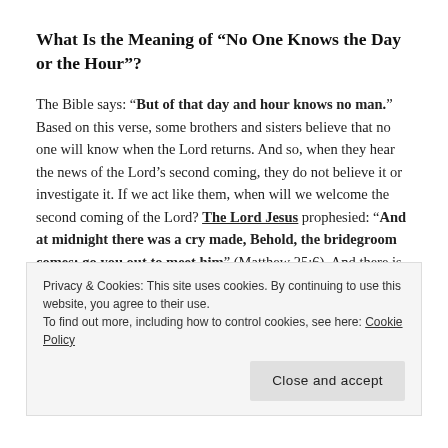What Is the Meaning of “No One Knows the Day or the Hour”?
The Bible says: “But of that day and hour knows no man.” Based on this verse, some brothers and sisters believe that no one will know when the Lord returns. And so, when they hear the news of the Lord’s second coming, they do not believe it or investigate it. If we act like them, when will we welcome the second coming of the Lord? The Lord Jesus prophesied: “And at midnight there was a cry made, Behold, the bridegroom comes; go you out to meet him” (Matthew 25:6). And there is also a prophecy in the Book of Revelation: “Behold, I stand at the door, and knock: if any man hear
Privacy & Cookies: This site uses cookies. By continuing to use this website, you agree to their use.
To find out more, including how to control cookies, see here: Cookie Policy